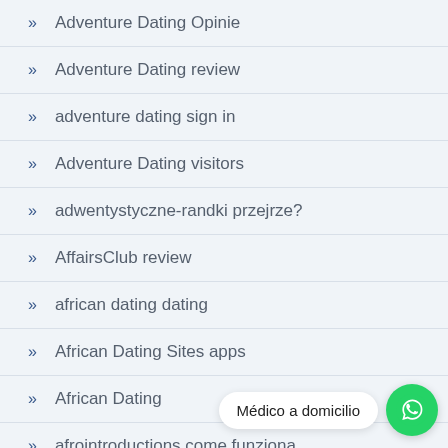Adventure Dating Opinie
Adventure Dating review
adventure dating sign in
Adventure Dating visitors
adwentystyczne-randki przejrze?
AffairsClub review
african dating dating
African Dating Sites apps
African Dating
afrointroductions come funziona